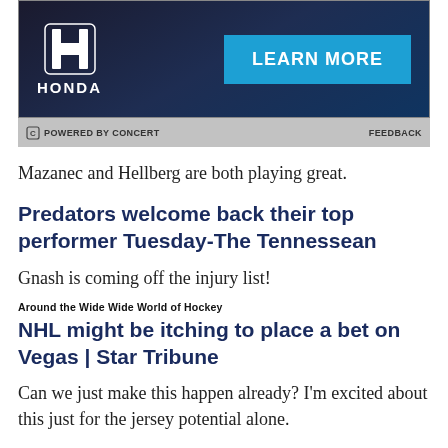[Figure (logo): Honda advertisement banner with Honda H logo, company name, and 'LEARN MORE' blue button on dark blue/navy gradient background]
POWERED BY CONCERT   FEEDBACK
Mazanec and Hellberg are both playing great.
Predators welcome back their top performer Tuesday-The Tennessean
Gnash is coming off the injury list!
Around the Wide Wide World of Hockey
NHL might be itching to place a bet on Vegas | Star Tribune
Can we just make this happen already? I'm excited about this just for the jersey potential alone.